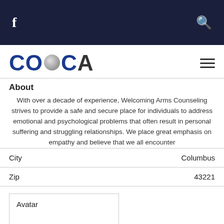f [facebook icon] | [search icon]
[Figure (logo): COCA logo with stylized letters in dark blue and gray sphere for the O]
About
With over a decade of experience, Welcoming Arms Counseling strives to provide a safe and secure place for individuals to address emotional and psychological problems that often result in personal suffering and struggling relationships. We place great emphasis on empathy and believe that we all encounter
| City | Columbus |
| Zip | 43221 |
Avatar